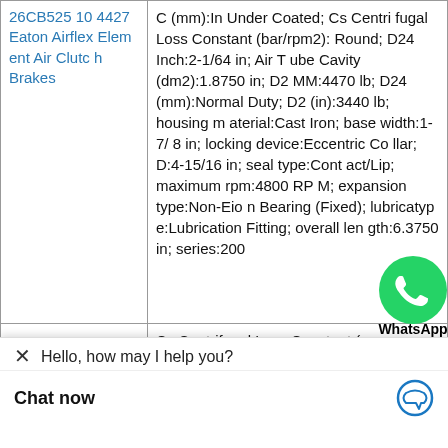| Product | Specifications |
| --- | --- |
| 26CB525 104427 Eaton Airflex Element Air Clutch Brakes | C (mm):In Under Coated; Cs Centrifugal Loss Constant (bar/rpm2):Round; D24 Inch:2-1/64 in; Air Tube Cavity (dm2):1.8750 in; D2 MM:4470 lb; D24 (mm):Normal Duty; D2 (in):3440 lb; housing material:Cast Iron; base width:1-7/8 in; locking device:Eccentric Collar; D:4-15/16 in; seal type:Contact/Lip; maximum rpm:4800 RPM; expansion type:Non-Expansion Bearing (Fixed); lubrication type:Lubrication Fitting; overall length:6.3750 in; series:2000 |
|  | Cs Centrifugal Loss Constant (psi/rpm2):Two-Bolt Base; D2 (m ...75 in; D24 (in):1.2500 in; e Cavity (dm2):Powder Co ated; D24 (mm):Round; D2 MM: 2-1/64 in; D2 Inch:1.8750 in; D2 s Centrifugal Loss /rpm2):Normal Dut |
[Figure (illustration): WhatsApp Online button overlay with green WhatsApp icon and italic 'Online' label]
Hello, how may I help you?
Chat now